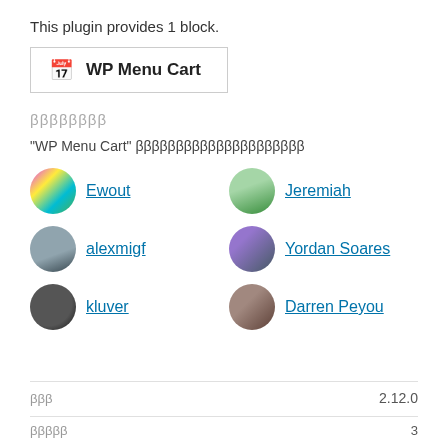This plugin provides 1 block.
[Figure (other): Plugin block icon and name: WP Menu Cart, displayed in a bordered box with a calendar/cart icon]
ββββββββ
"WP Menu Cart" βββββββββββββββββββββ
Ewout
Jeremiah
alexmigf
Yordan Soares
kluver
Darren Peyou
βββ   2.12.0
βββββ   3